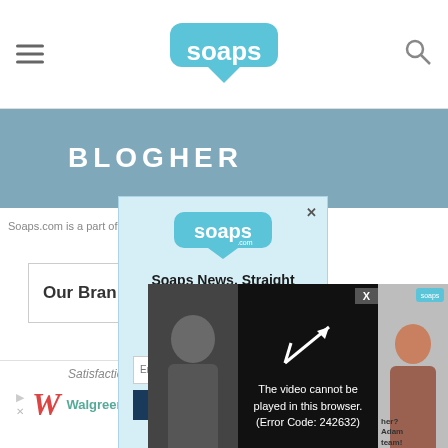soaps (logo) with hamburger menu and search icon
[Figure (screenshot): Soaps.com website screenshot showing hamburger menu, Soaps logo, and search icon in header]
BLOGHER
Soaps.com is a part of ... Media, LLC. All Rights
Our Brands
[Figure (screenshot): Newsletter popup: Soaps.com logo, headline 'Soaps News, Straight to Your Inbox', subtext 'Sign up for the Soaps daily newsletter today.', email input field, and subscribe button]
[Figure (screenshot): Video player overlay showing error message: 'The video cannot be played in this browser. (Error Code: 242632)' with a play arrow icon, close X button, and thumbnail of a person on the left and another person on the right]
[Figure (screenshot): Walgreens Photo advertisement banner: 'Satisfaction Guaranteed' text, Walgreens Photo branding with cursive W logo, play and close icons]